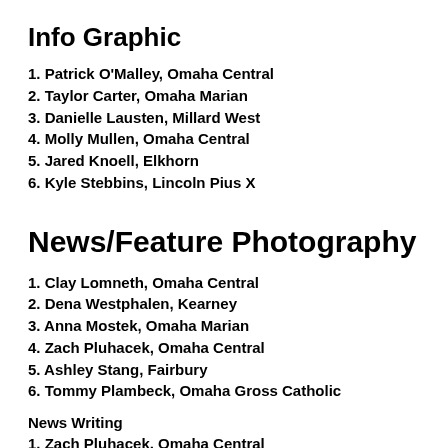Info Graphic
1. Patrick O'Malley, Omaha Central
2. Taylor Carter, Omaha Marian
3. Danielle Lausten, Millard West
4. Molly Mullen, Omaha Central
5. Jared Knoell, Elkhorn
6. Kyle Stebbins, Lincoln Pius X
News/Feature Photography
1. Clay Lomneth, Omaha Central
2. Dena Westphalen, Kearney
3. Anna Mostek, Omaha Marian
4. Zach Pluhacek, Omaha Central
5. Ashley Stang, Fairbury
6. Tommy Plambeck, Omaha Gross Catholic
News Writing
1. Zach Pluhacek, Omaha Central
2. [continues below]